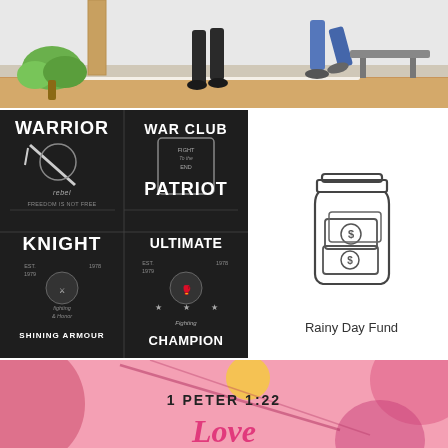[Figure (illustration): Office scene illustration: two people walking in an office/room with light-colored floor, wooden accent, and plant visible on left. Partial view showing legs and lower bodies.]
[Figure (illustration): Dark/black background graphic design image with four warrior/knight badge logos: WARRIOR, WAR CLUB PATRIOT, KNIGHT, ULTIMATE FIGHTING CHAMPION in vintage t-shirt print style.]
[Figure (illustration): Line art icon of a mason jar filled with dollar bills/money, representing a rainy day fund savings concept.]
Rainy Day Fund
[Figure (illustration): Pink/fuchsia decorative background with abstract shapes, a yellow circle sun motif, and stylized text reading '1 PETER 1:22' and 'Love' in script, partially visible.]